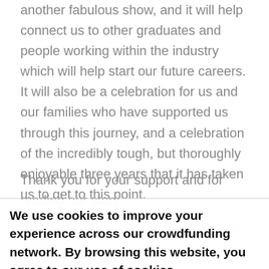another fabulous show, and it will help connect us to other graduates and people working within the industry which will help start our future careers. It will also be a celebration for us and our families who have supported us through this journey, and a celebration of the incredibly tough, but thoroughly enjoyable three years that it has taken us to get to this point.
Thank you for your support and for reading our story.
WHERE WILL OUR MONEY GO? ... a significant proportion of this amount ourselves (the rest is provided by Bath Spa University) in order for the show to go ahead. If we fail to reach the target, the show may not go ahead...
We use cookies to improve your experience across our crowdfunding network. By browsing this website, you agree to our use of cookies.
Ok. Don't show this again.